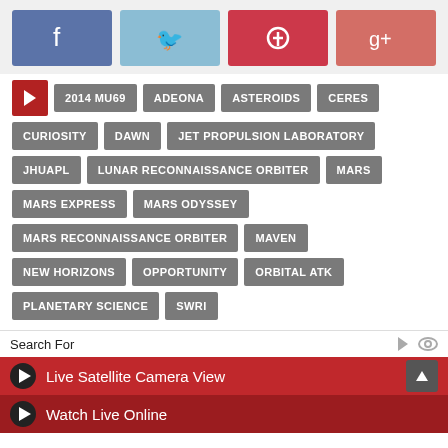[Figure (infographic): Social media share buttons: Facebook (blue), Twitter (light blue), Pinterest (red), Google+ (salmon red)]
2014 MU69
ADEONA
ASTEROIDS
CERES
CURIOSITY
DAWN
JET PROPULSION LABORATORY
JHUAPL
LUNAR RECONNAISSANCE ORBITER
MARS
MARS EXPRESS
MARS ODYSSEY
MARS RECONNAISSANCE ORBITER
MAVEN
NEW HORIZONS
OPPORTUNITY
ORBITAL ATK
PLANETARY SCIENCE
SWRI
Search For
Live Satellite Camera View
Watch Live Online